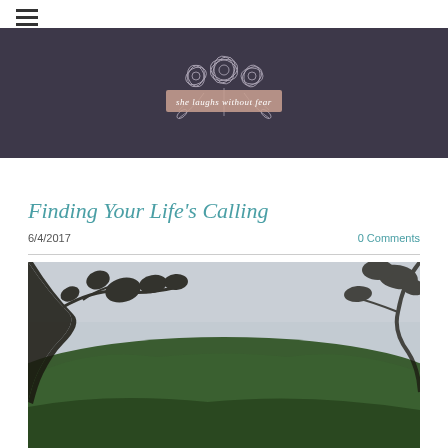Navigation menu (hamburger icon)
[Figure (logo): She laughs without fear blog logo with floral illustration on dark purple/navy banner]
Finding Your Life's Calling
6/4/2017   0 Comments
[Figure (photo): Outdoor landscape photo showing green wooded hills and tree branches in foreground against overcast sky]